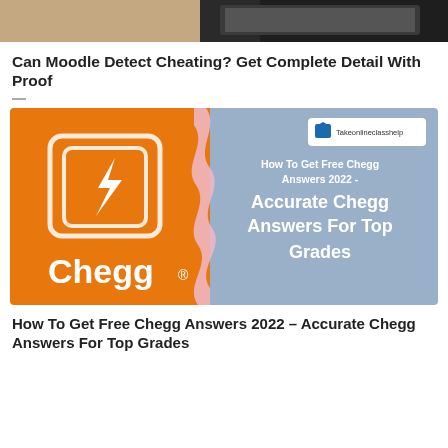[Figure (photo): Partial top image showing a cat on a laptop on a dark table, cropped at top of page]
Can Moodle Detect Cheating? Get Complete Detail With Proof
[Figure (infographic): Chegg branded banner with orange left side showing Chegg logo with lightning bolt icon, and blue-gray right side with text: How To Get Free Chegg Answers 2022 - Accurate Chegg Answers For Top Grades, with Takeonlineclasshelp logo in top right corner]
How To Get Free Chegg Answers 2022 – Accurate Chegg Answers For Top Grades